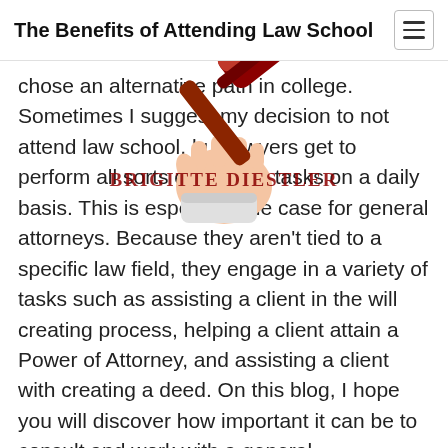The Benefits of Attending Law School
[Figure (illustration): A hand holding a judge's gavel/mallet, depicted as a cartoon/emoji-style illustration overlaid on the page header and top of the text area. A red watermark text 'BRIGITTE DIESTLER' appears over the text.]
chose an alternative path in college. Sometimes I suggest my decision to not attend law school, but lawyers get to perform all sorts of exciting tasks on a daily basis. This is especially the case for general attorneys. Because they aren't tied to a specific law field, they engage in a variety of tasks such as assisting a client in the will creating process, helping a client attain a Power of Attorney, and assisting a client with creating a deed. On this blog, I hope you will discover how important it can be to consult and work with a general